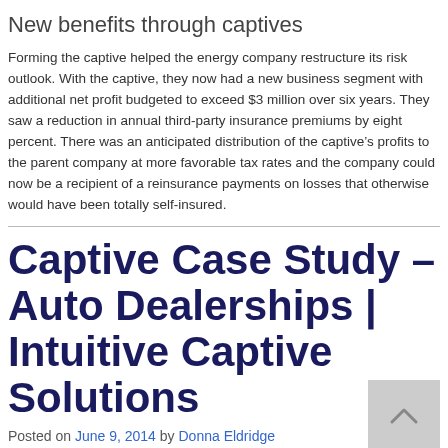New benefits through captives
Forming the captive helped the energy company restructure its risk outlook. With the captive, they now had a new business segment with additional net profit budgeted to exceed $3 million over six years. They saw a reduction in annual third-party insurance premiums by eight percent. There was an anticipated distribution of the captive's profits to the parent company at more favorable tax rates and the company could now be a recipient of a reinsurance payments on losses that otherwise would have been totally self-insured.
Captive Case Study – Auto Dealerships | Intuitive Captive Solutions
Posted on June 9, 2014 by Donna Eldridge